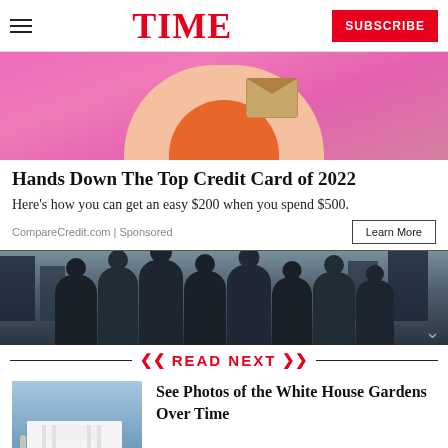TIME | SUBSCRIBE
[Figure (photo): Pink background image showing a person in an orange top holding an envelope]
Hands Down The Top Credit Card of 2022
Here's how you can get an easy $200 when you spend $500.
CompareCredit.com | Sponsored
[Figure (photo): Group of people (band) standing on a city street]
READ NEXT
[Figure (photo): Thumbnail photo of the White House Gardens]
See Photos of the White House Gardens Over Time